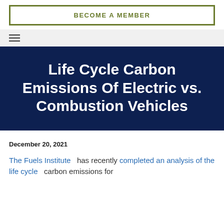BECOME A MEMBER
Life Cycle Carbon Emissions Of Electric vs. Combustion Vehicles
December 20, 2021
The Fuels Institute has recently completed an analysis of the life cycle carbon emissions for